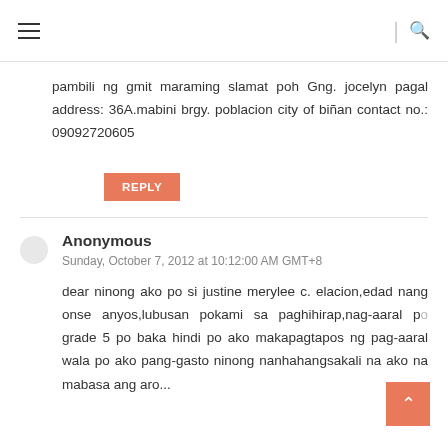Navigation menu and search
pambili ng gmit maraming slamat poh Gng. jocelyn pagal address: 36A.mabini brgy. poblacion city of biñan contact no.: 09092720605
REPLY
Anonymous
Sunday, October 7, 2012 at 10:12:00 AM GMT+8
dear ninong ako po si justine merylee c. elacion,edad nang onse anyos,lubusan pokami sa paghihirap,nag-aaral po grade 5 po baka hindi po ako makapagtapos ng pag-aaral wala po ako pang-gasto ninong nanhahangsakali na ako na mabasa ang aro...